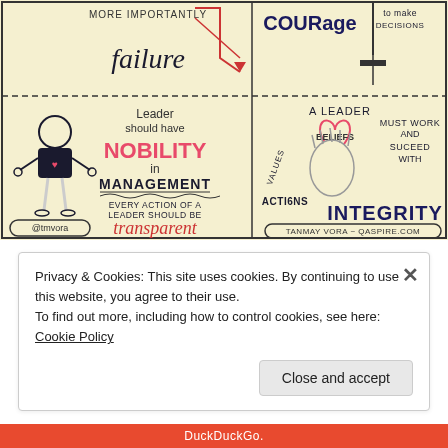[Figure (illustration): Hand-drawn sketchnote infographic about leadership qualities. Left panel: stick figure with heart, text 'MORE IMPORTANTLY failure' with downward arrow, 'Leader should have NOBILITY in MANAGEMENT', 'EVERY ACTION OF A LEADER SHOULD BE transparent', '@tmvora'. Right panel: 'COURAGE to make DECISIONS', 'A LEADER MUST WORK AND SUCCEED WITH INTEGRITY', hand holding heart with 'VALUES', 'BELIEFS', 'ACTIONS' labels. Credit: TANMAY VORA ~ QASPIRE.COM]
Privacy & Cookies: This site uses cookies. By continuing to use this website, you agree to their use.
To find out more, including how to control cookies, see here: Cookie Policy
Close and accept